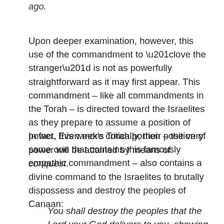ago.
Upon deeper examination, however, this use of the commandment to “love the stranger” is not as powerfully straightforward as it may first appear. This commandment – like all commandments in the Torah – is directed toward the Israelites as they prepare to assume a position of power. Even more critically, their position of power will be attained by means of conquest.
In fact, this week’s Torah portion – the very same one that contains this famously empathic commandment – also contains a divine command to the Israelites to brutally dispossess and destroy the peoples of Canaan:
You shall destroy the peoples that the Lord your God delivers to you, showing them no pity…The Lord your